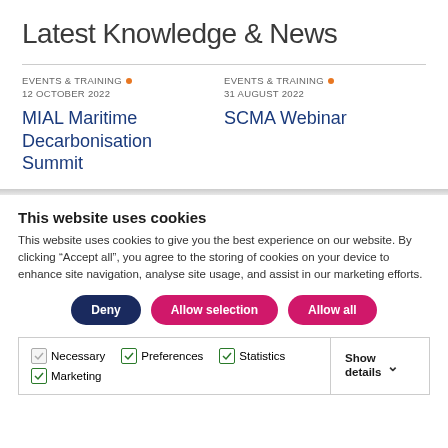Latest Knowledge & News
EVENTS & TRAINING • 12 OCTOBER 2022
MIAL Maritime Decarbonisation Summit
EVENTS & TRAINING • 31 AUGUST 2022
SCMA Webinar
This website uses cookies
This website uses cookies to give you the best experience on our website. By clicking “Accept all”, you agree to the storing of cookies on your device to enhance site navigation, analyse site usage, and assist in our marketing efforts.
Deny | Allow selection | Allow all
| Necessary | Preferences | Statistics | Marketing | Show details |
| --- | --- | --- | --- | --- |
| ✓ | ✓ | ✓ | ✓ |  |